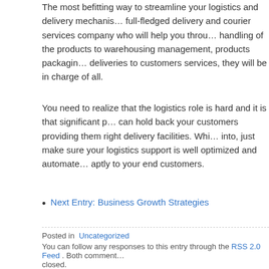The most befitting way to streamline your logistics and delivery mechanisms is to hire a full-fledged delivery and courier services company who will help you through everything from handling of the products to warehousing management, products packaging, and from last-mile deliveries to customers services, they will be in charge of all.
You need to realize that the logistics role is hard and it is that significant part of you that can hold back your customers providing them right delivery facilities. Whichever niche you are into, just make sure your logistics support is well optimized and automated to deliver products aptly to your end customers.
Next Entry: Business Growth Strategies
Posted in  Uncategorized
You can follow any responses to this entry through the  RSS 2.0 Feed . Both comments and pings are closed.
Advertisement
Comments are closed.
Copyright 2022 © Web...